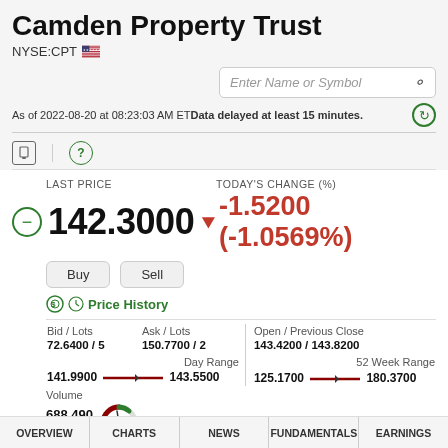Camden Property Trust
NYSE:CPT 🇺🇸
Enter Name or Symbol
As of 2022-08-20 at 08:23:03 AM ET Data delayed at least 15 minutes.
LAST PRICE   142.3000   ▼ -1.5200 (-1.0569%)   TODAY'S CHANGE (%)
Buy   Sell
Price History
| Bid / Lots | Ask / Lots | Open / Previous Close |
| --- | --- | --- |
| 72.6400 / 5 | 150.7700 / 2 | 143.4200 / 143.8200 |
| Day Range: 141.9900 — 143.5500 |  | 52 Week Range: 125.1700 — 180.3700 |
Volume   688,490
OVERVIEW | CHARTS | NEWS | FUNDAMENTALS | EARNINGS